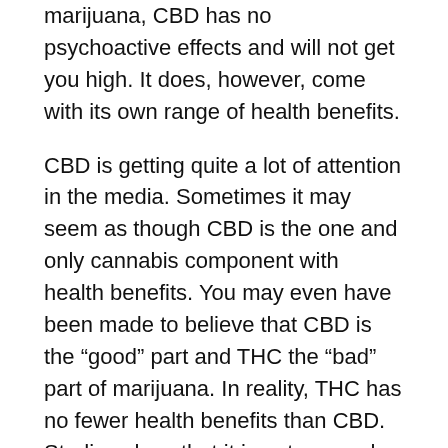marijuana, CBD has no psychoactive effects and will not get you high. It does, however, come with its own range of health benefits.
CBD is getting quite a lot of attention in the media. Sometimes it may seem as though CBD is the one and only cannabis component with health benefits. You may even have been made to believe that CBD is the “good” part and THC the “bad” part of marijuana. In reality, THC has no fewer health benefits than CBD. Studies show that it is not so much the CBD but the THC that has the strongest effect on cancer cells. THC is unfortunately often difficult for medical professionals to work with, due to its legal status.
The sad and simple truth is that a very promising